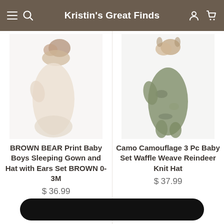Kristin's Great Finds
[Figure (photo): Baby boy sleeping gown set in beige/cream color with brown bear ear hat - blurred product photo]
BROWN BEAR Print Baby Boys Sleeping Gown and Hat with Ears Set BROWN 0-3M
$ 36.99
[Figure (photo): Camo green 3-piece baby set with waffle weave and reindeer knit hat - blurred product photo]
Camo Camouflage 3 Pc Baby Set Waffle Weave Reindeer Knit Hat
$ 37.99